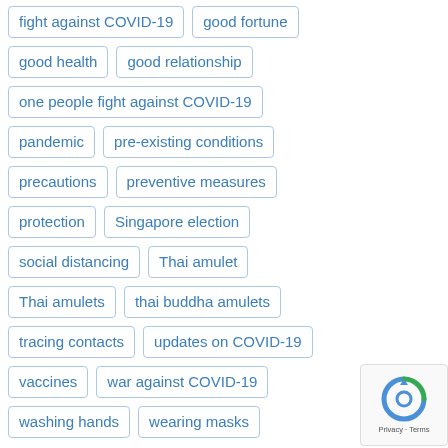fight against COVID-19
good fortune
good health
good relationship
one people fight against COVID-19
pandemic
pre-existing conditions
precautions
preventive measures
protection
Singapore election
social distancing
Thai amulet
Thai amulets
thai buddha amulets
tracing contacts
updates on COVID-19
vaccines
war against COVID-19
washing hands
wearing masks